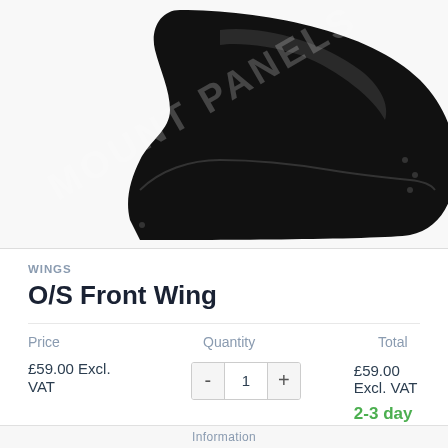[Figure (photo): Product photo of a black car front wing/fender panel on white background with 'MOUNT PANELS' watermark overlaid diagonally]
WINGS
O/S Front Wing
Price   Quantity   Total
£59.00 Excl. VAT   1   £59.00 Excl. VAT   2-3 day Delivery
Information